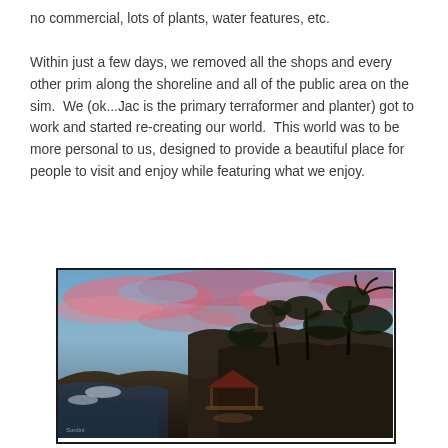no commercial, lots of plants, water features, etc.
Within just a few days, we removed all the shops and every other prim along the shoreline and all of the public area on the sim.  We (ok...Jac is the primary terraformer and planter) got to work and started re-creating our world.  This world was to be more personal to us, designed to provide a beautiful place for people to visit and enjoy while featuring what we enjoy.
[Figure (photo): A virtual world scene at sunset or dusk showing a gazebo or pavilion structure near rocky shoreline, surrounded by lush tropical trees and palm trees. The sky has dramatic pink and blue clouds. The scene appears to be from a virtual world like Second Life.]